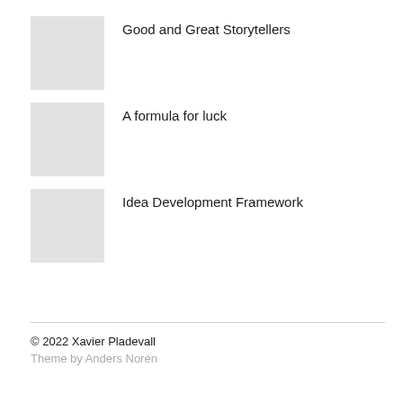Good and Great Storytellers
A formula for luck
Idea Development Framework
© 2022 Xavier Pladevall
Theme by Anders Norén